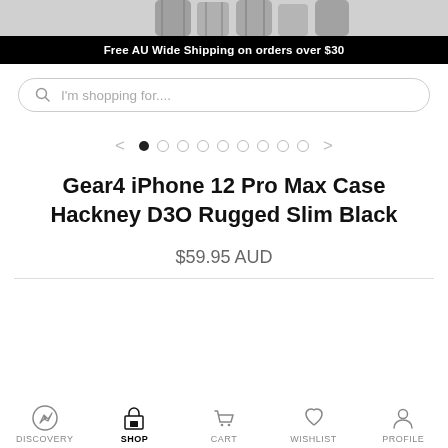[Figure (photo): Top portion of phone cases displayed on a light grey background, cropped]
Free AU Wide Shipping on orders over $30
I'm shopping for....
[Figure (other): Product image carousel with navigation arrows and dot indicators, first dot filled]
Gear4 iPhone 12 Pro Max Case Hackney D3O Rugged Slim Black
$59.95 AUD
DISCOVERY  SHOP  CART  WISHLIST  PROFILE